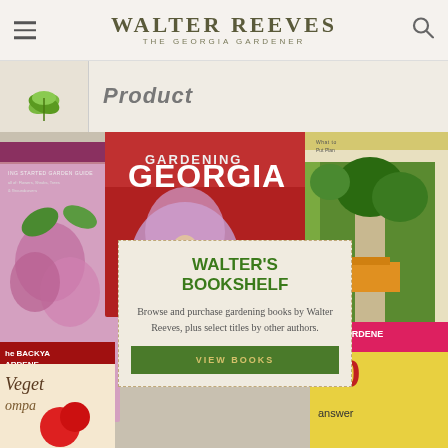WALTER REEVES THE GEORGIA GARDENER
[Figure (screenshot): Partial product listing with leaf thumbnail and 'Product' heading]
[Figure (photo): Collage of gardening book covers including 'Gardening Georgia', 'The Backyard Gardener', and others]
WALTER'S BOOKSHELF
Browse and purchase gardening books by Walter Reeves, plus select titles by other authors.
VIEW BOOKS